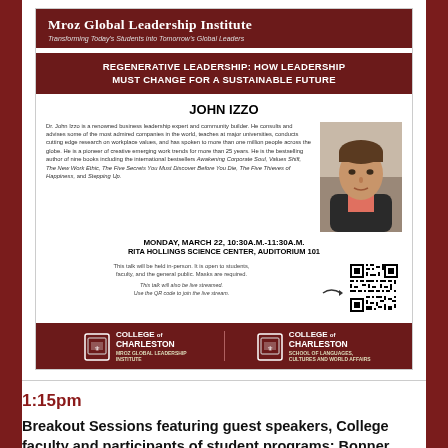[Figure (infographic): Mroz Global Leadership Institute flyer for a talk by John Izzo titled 'Regenerative Leadership: How Leadership Must Change for a Sustainable Future', Monday March 22 10:30am-11:30am, Rita Hollings Science Center Auditorium 101, with bio, photo, QR code, and College of Charleston logos]
1:15pm
Breakout Sessions featuring guest speakers, College faculty and participants of student programs: Bonner Leaders, Global Ambassadors, International Scholars,